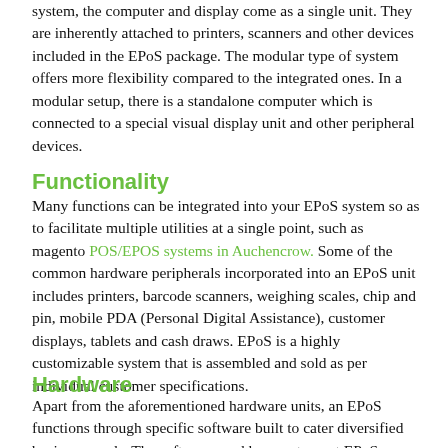system, the computer and display come as a single unit. They are inherently attached to printers, scanners and other devices included in the EPoS package. The modular type of system offers more flexibility compared to the integrated ones. In a modular setup, there is a standalone computer which is connected to a special visual display unit and other peripheral devices.
Functionality
Many functions can be integrated into your EPoS system so as to facilitate multiple utilities at a single point, such as magento POS/EPOS systems in Auchencrow. Some of the common hardware peripherals incorporated into an EPoS unit includes printers, barcode scanners, weighing scales, chip and pin, mobile PDA (Personal Digital Assistance), customer displays, tablets and cash draws. EPoS is a highly customizable system that is assembled and sold as per individual customer specifications.
Hardware
Apart from the aforementioned hardware units, an EPoS functions through specific software built to cater diversified business needs. The software used by a restaurant EPoS system is different from